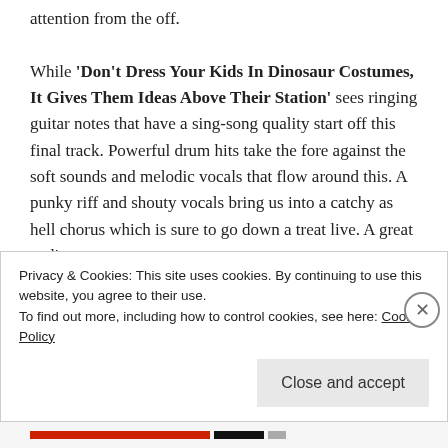attention from the off. While 'Don't Dress Your Kids In Dinosaur Costumes, It Gives Them Ideas Above Their Station' sees ringing guitar notes that have a sing-song quality start off this final track. Powerful drum hits take the fore against the soft sounds and melodic vocals that flow around this. A punky riff and shouty vocals bring us into a catchy as hell chorus which is sure to go down a treat live. A great ending to a
Privacy & Cookies: This site uses cookies. By continuing to use this website, you agree to their use. To find out more, including how to control cookies, see here: Cookie Policy
Close and accept